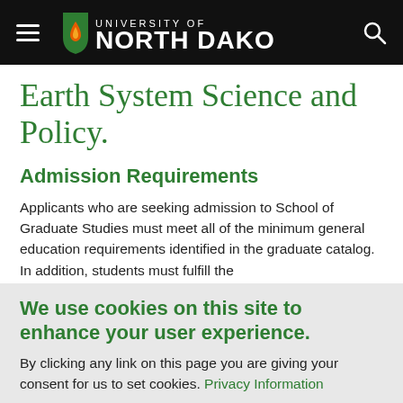University of North Dakota
Earth System Science and Policy.
Admission Requirements
Applicants who are seeking admission to School of Graduate Studies must meet all of the minimum general education requirements identified in the graduate catalog. In addition, students must fulfill the
We use cookies on this site to enhance your user experience.
By clicking any link on this page you are giving your consent for us to set cookies. Privacy Information